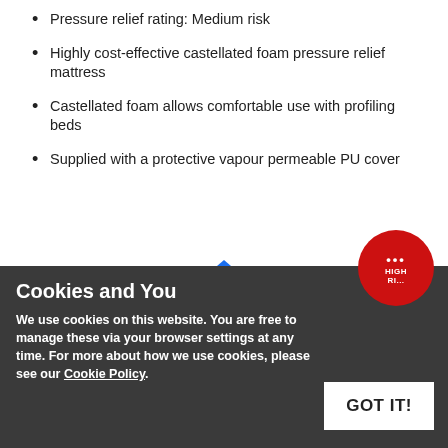Pressure relief rating: Medium risk
Highly cost-effective castellated foam pressure relief mattress
Castellated foam allows comfortable use with profiling beds
Supplied with a protective vapour permeable PU cover
[Figure (other): Blue 'MORE INFO' button with upward-pointing triangle arrow above it]
Cookies and You
We use cookies on this website. You are free to manage these via your browser settings at any time. For more about how we use cookies, please see our Cookie Policy.
[Figure (other): GOT IT! white button and red circular badge with dots and HIGH RISK text]